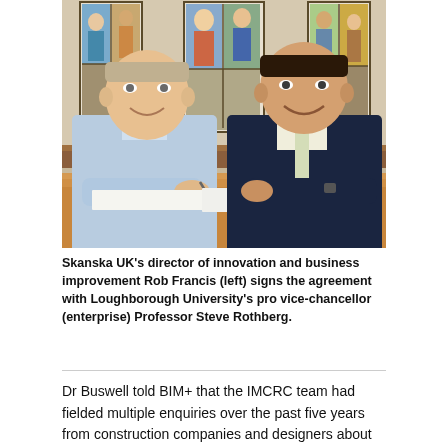[Figure (photo): Two men sitting at a wooden table in front of stained glass windows. The man on the left (Rob Francis) is wearing a light blue shirt and signing a document with a pen. The man on the right (Professor Steve Rothberg) is wearing a dark suit with a light tie and smiling.]
Skanska UK's director of innovation and business improvement Rob Francis (left) signs the agreement with Loughborough University's pro vice-chancellor (enterprise) Professor Steve Rothberg.
Dr Buswell told BIM+ that the IMCRC team had fielded multiple enquiries over the past five years from construction companies and designers about